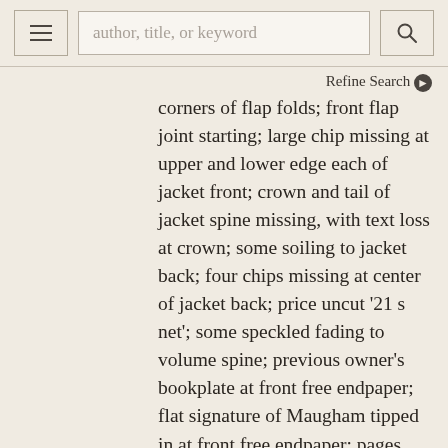author, title, or keyword [search bar] | Refine Search
corners of flap folds; front flap joint starting; large chip missing at upper and lower edge each of jacket front; crown and tail of jacket spine missing, with text loss at crown; some soiling to jacket back; four chips missing at center of jacket back; price uncut '21 s net'; some speckled fading to volume spine; previous owner's bookplate at front free endpaper; flat signature of Maugham tipped in at front free endpaper; pages clean; shelved Case 2. More ›
ADD TO CART
Price: $125